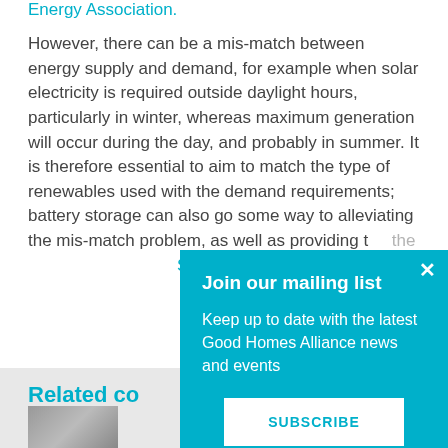Energy Association.
However, there can be a mis-match between energy supply and demand, for example when solar electricity is required outside daylight hours, particularly in winter, whereas maximum generation will occur during the day, and probably in summer. It is therefore essential to aim to match the type of renewables used with the demand requirements; battery storage can also go some way to alleviating the mis-match problem, as well as providing the... charging. The GHA... SPECIFIC to expl...
Related co...
[Figure (photo): Thumbnail image partially visible at bottom left]
Join our mailing list
Keep up to date with the latest Good Homes Alliance news and events
SUBSCRIBE